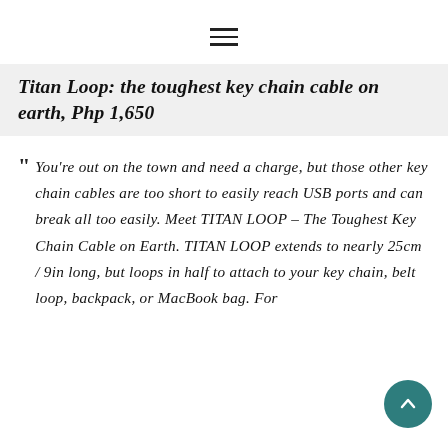≡
Titan Loop: the toughest key chain cable on earth, Php 1,650
" You're out on the town and need a charge, but those other key chain cables are too short to easily reach USB ports and can break all too easily. Meet TITAN LOOP – The Toughest Key Chain Cable on Earth. TITAN LOOP extends to nearly 25cm / 9in long, but loops in half to attach to your key chain, belt loop, backpack, or MacBook bag. For